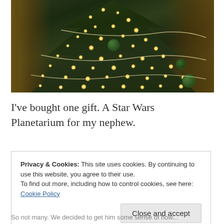[Figure (photo): A decorated Christmas tree with warm twinkling lights, pearl/bead garlands, and green ornaments, photographed indoors with a warm wooden background visible on sides.]
I've bought one gift. A Star Wars Planetarium for my nephew.
Privacy & Cookies: This site uses cookies. By continuing to use this website, you agree to their use.
To find out more, including how to control cookies, see here: Cookie Policy
Close and accept
So not many. We decided to get him some sense of how...